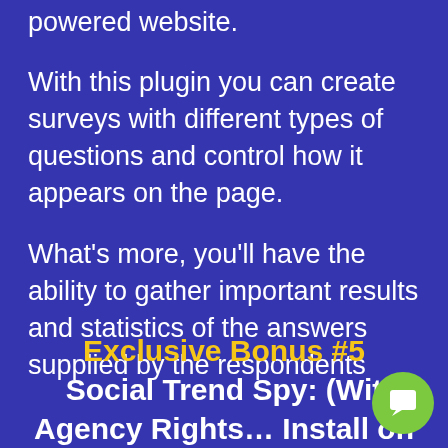powered website.
With this plugin you can create surveys with different types of questions and control how it appears on the page.
What's more, you'll have the ability to gather important results and statistics of the answers supplied by the respondents
Exclusive Bonus #5
Social Trend Spy: (With Agency Rights… Install on